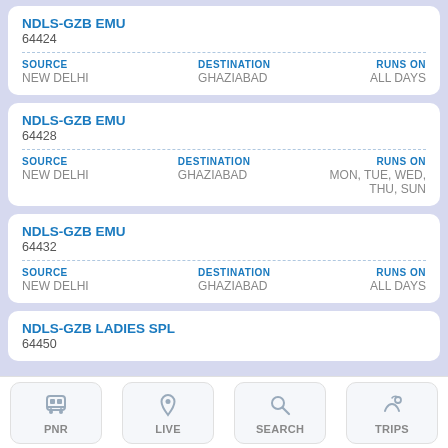NDLS-GZB EMU
64424
| SOURCE | DESTINATION | RUNS ON |
| --- | --- | --- |
| NEW DELHI | GHAZIABAD | ALL DAYS |
NDLS-GZB EMU
64428
| SOURCE | DESTINATION | RUNS ON |
| --- | --- | --- |
| NEW DELHI | GHAZIABAD | MON, TUE, WED, THU, SUN |
NDLS-GZB EMU
64432
| SOURCE | DESTINATION | RUNS ON |
| --- | --- | --- |
| NEW DELHI | GHAZIABAD | ALL DAYS |
NDLS-GZB LADIES SPL
64450
| SOURCE | DESTINATION | RUNS ON |
| --- | --- | --- |
| NEW DELHI | GHAZIA... | MON, TUE... |
PNR  LIVE  SEARCH  TRIPS